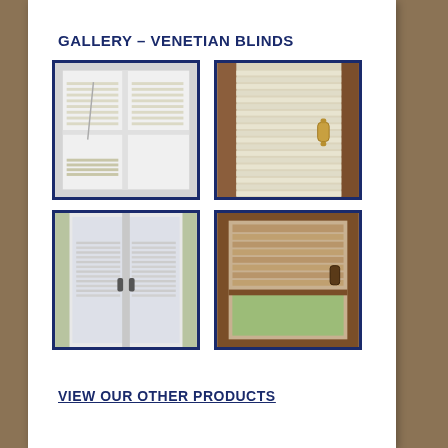GALLERY – VENETIAN BLINDS
[Figure (photo): White venetian blinds partially open on a white PVC window frame, tilted slats visible]
[Figure (photo): Close-up of cream/beige venetian blinds with a gold/brass window handle on a wooden frame]
[Figure (photo): White venetian blinds fitted on French double doors, slats halfway closed]
[Figure (photo): Wooden frame window with bronze/gold venetian blind fully raised at top, lower pane visible with garden view]
VIEW OUR OTHER PRODUCTS